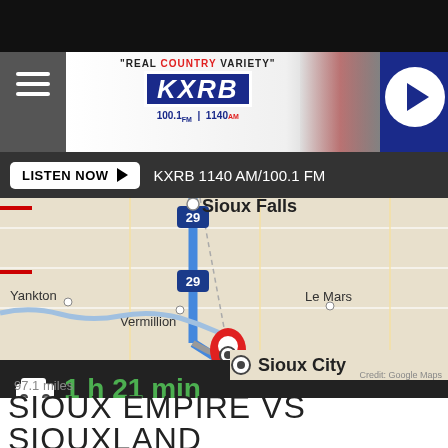[Figure (screenshot): KXRB radio station website header with logo showing 'REAL COUNTRY VARIETY', KXRB 100.1 FM / 1140 AM, hamburger menu icon, and play button]
LISTEN NOW ► KXRB 1140 AM/100.1 FM
[Figure (map): Google Maps screenshot showing route along I-29 from Sioux Falls to Sioux City, passing Yankton, Vermillion, and Le Mars. Travel time 1 h 21 min. Credit: Google Maps.]
1 h 21 min
Credit: Google Maps
SIOUX EMPIRE VS SIOUXLAND